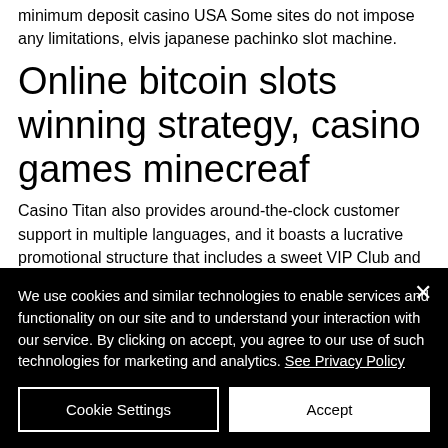minimum deposit casino USA Some sites do not impose any limitations, elvis japanese pachinko slot machine.
Online bitcoin slots winning strategy, casino games minecreaf
Casino Titan also provides around-the-clock customer support in multiple languages, and it boasts a lucrative promotional structure that includes a sweet VIP Club and a $3,000
We use cookies and similar technologies to enable services and functionality on our site and to understand your interaction with our service. By clicking on accept, you agree to our use of such technologies for marketing and analytics. See Privacy Policy
Cookie Settings
Accept